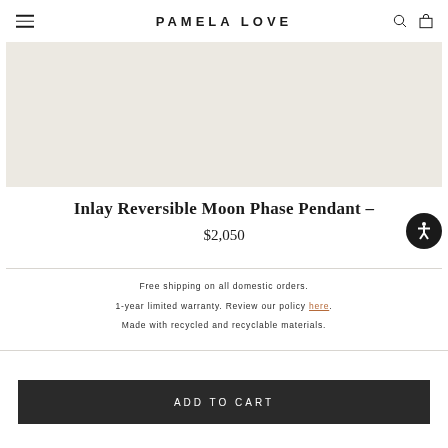PAMELA LOVE
[Figure (photo): Product image area showing a light beige/cream textured background, partial view of a jewelry pendant product photo]
Inlay Reversible Moon Phase Pendant –
$2,050
Free shipping on all domestic orders.
1-year limited warranty. Review our policy here.
Made with recycled and recyclable materials.
ADD TO CART